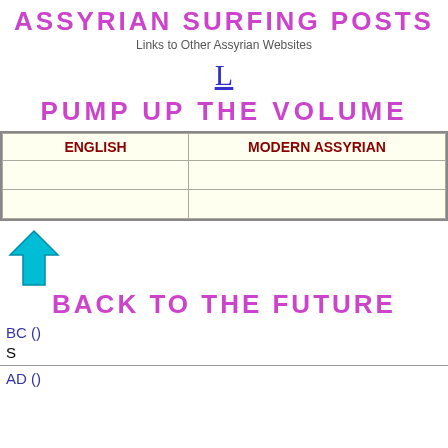ASSYRIAN SURFING POSTS
Links to Other Assyrian Websites
L
PUMP UP THE VOLUME
| ENGLISH | MODERN ASSYRIAN |
| --- | --- |
|  |  |
|  |  |
[Figure (illustration): Cyan/teal upward pointing arrow icon]
BACK TO THE FUTURE
BC ()
S
AD ()